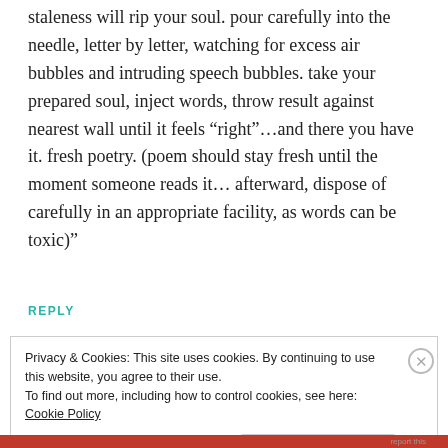staleness will rip your soul. pour carefully into the needle, letter by letter, watching for excess air bubbles and intruding speech bubbles. take your prepared soul, inject words, throw result against nearest wall until it feels “right”…and there you have it. fresh poetry. (poem should stay fresh until the moment someone reads it… afterward, dispose of carefully in an appropriate facility, as words can be toxic)”
REPLY
Privacy & Cookies: This site uses cookies. By continuing to use this website, you agree to their use.
To find out more, including how to control cookies, see here: Cookie Policy
Close and accept